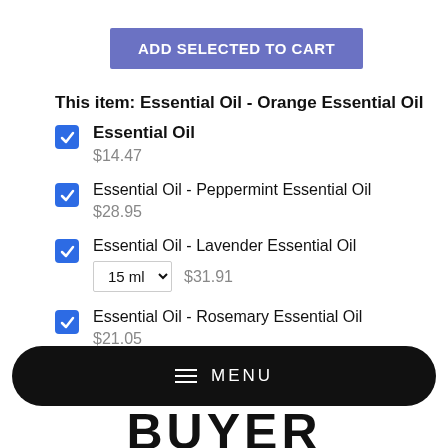ADD SELECTED TO CART
This item: Essential Oil - Orange Essential Oil
Essential Oil - Orange Essential Oil $14.47
Essential Oil - Peppermint Essential Oil $28.95
Essential Oil - Lavender Essential Oil 15 ml $31.91
Essential Oil - Rosemary Essential Oil $21.05
MENU